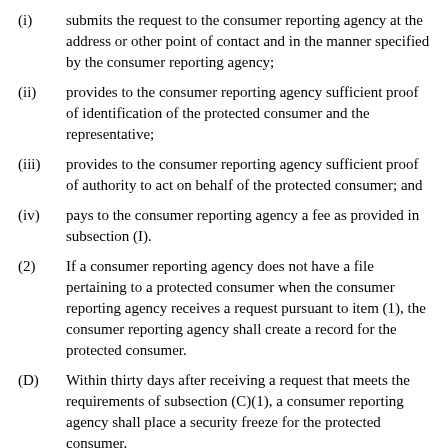(i) submits the request to the consumer reporting agency at the address or other point of contact and in the manner specified by the consumer reporting agency;
(ii) provides to the consumer reporting agency sufficient proof of identification of the protected consumer and the representative;
(iii) provides to the consumer reporting agency sufficient proof of authority to act on behalf of the protected consumer; and
(iv) pays to the consumer reporting agency a fee as provided in subsection (I).
(2) If a consumer reporting agency does not have a file pertaining to a protected consumer when the consumer reporting agency receives a request pursuant to item (1), the consumer reporting agency shall create a record for the protected consumer.
(D) Within thirty days after receiving a request that meets the requirements of subsection (C)(1), a consumer reporting agency shall place a security freeze for the protected consumer.
(E) Unless a security freeze for a protected consumer is removed in accordance with subsection (G) or (J), a consumer reporting agency may not release the protected consumer's consumer report, any information derived from the protected consumer's consumer